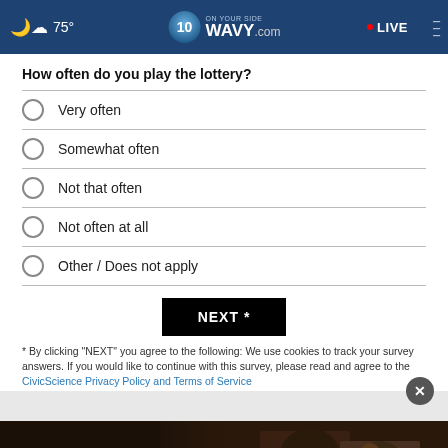75° WAVY.com ON YOUR SIDE • LIVE
How often do you play the lottery?
Very often
Somewhat often
Not that often
Not often at all
Other / Does not apply
NEXT *
* By clicking "NEXT" you agree to the following: We use cookies to track your survey answers. If you would like to continue with this survey, please read and agree to the CivicScience Privacy Policy and Terms of Service
[Figure (photo): Advertisement banner showing text 'Don't wait.' with a person in background]
TOP S...